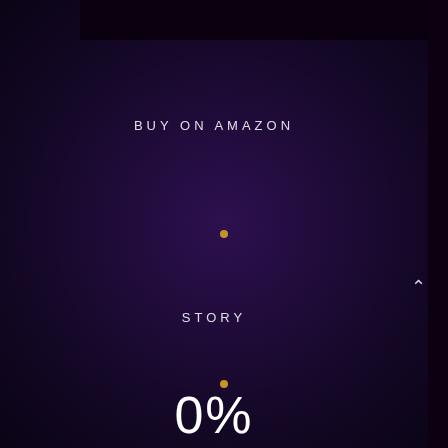[Figure (screenshot): Dark purple app screen with 'BUY ON AMAZON' text at top, a gold dot, large '0%' percentage display in center, a caret/chevron up arrow on right side, 'STORY' text, and another gold dot at bottom. Dark background with deep purple gradient.]
BUY ON AMAZON
0%
STORY